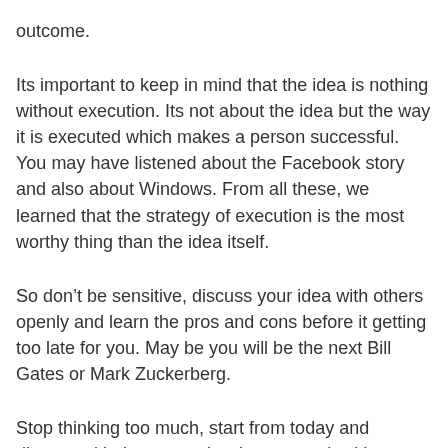outcome.
Its important to keep in mind that the idea is nothing without execution. Its not about the idea but the way it is executed which makes a person successful. You may have listened about the Facebook story and also about Windows. From all these, we learned that the strategy of execution is the most worthy thing than the idea itself.
So don’t be sensitive, discuss your idea with others openly and learn the pros and cons before it getting too late for you. May be you will be the next Bill Gates or Mark Zuckerberg.
Stop thinking too much, start from today and discuss with those people who can work with you to make it happen.
You can also discuss with me for a free consultation. I am a top rated developer on UpWork and have 9+ years of software development experience. You can